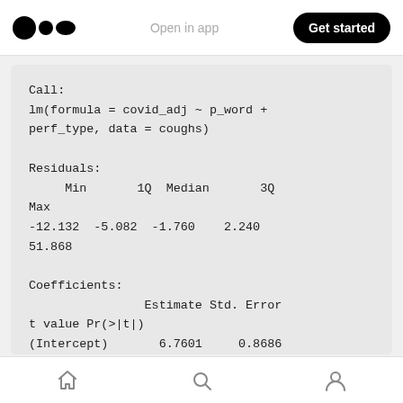Open in app | Get started
Call:
lm(formula = covid_adj ~ p_word +
perf_type, data = coughs)

Residuals:
     Min       1Q  Median       3Q
Max
-12.132  -5.082  -1.760   2.240
51.868

Coefficients:
                Estimate Std. Error
t value Pr(>|t|)
(Intercept)       6.7601     0.8686
7.783 8.71e-13 ***
p_word           -7.0495     1.9017
Home | Search | Profile